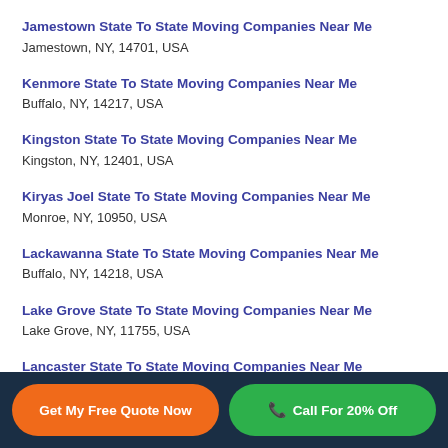Jamestown State To State Moving Companies Near Me
Jamestown, NY, 14701, USA
Kenmore State To State Moving Companies Near Me
Buffalo, NY, 14217, USA
Kingston State To State Moving Companies Near Me
Kingston, NY, 12401, USA
Kiryas Joel State To State Moving Companies Near Me
Monroe, NY, 10950, USA
Lackawanna State To State Moving Companies Near Me
Buffalo, NY, 14218, USA
Lake Grove State To State Moving Companies Near Me
Lake Grove, NY, 11755, USA
Lancaster State To State Moving Companies Near Me
Get My Free Quote Now
Call For 20% Off